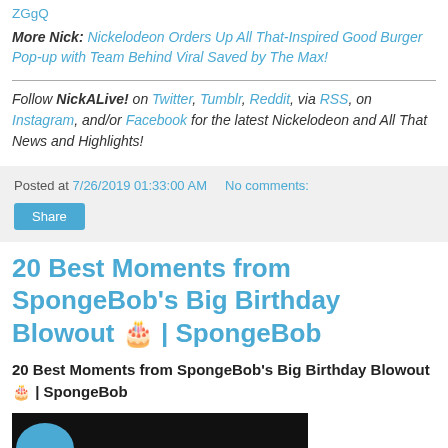ZGgQ
More Nick: Nickelodeon Orders Up All That-Inspired Good Burger Pop-up with Team Behind Viral Saved by The Max!
Follow NickALive! on Twitter, Tumblr, Reddit, via RSS, on Instagram, and/or Facebook for the latest Nickelodeon and All That News and Highlights!
Posted at 7/26/2019 01:33:00 AM   No comments:
Share
20 Best Moments from SpongeBob's Big Birthday Blowout 🎂 | SpongeBob
20 Best Moments from SpongeBob's Big Birthday Blowout 🎂 | SpongeBob
[Figure (photo): Thumbnail image with dark background and teal circle element at bottom left]